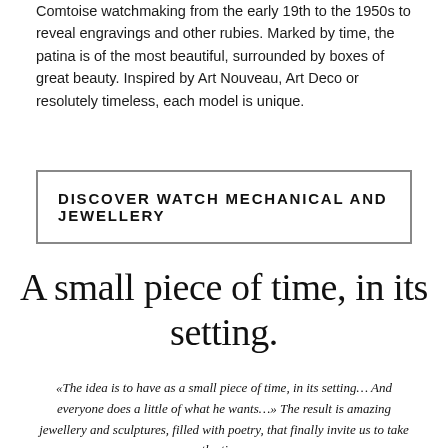Comtoise watchmaking from the early 19th to the 1950s to reveal engravings and other rubies. Marked by time, the patina is of the most beautiful, surrounded by boxes of great beauty. Inspired by Art Nouveau, Art Deco or resolutely timeless, each model is unique.
DISCOVER WATCH MECHANICAL AND JEWELLERY
A small piece of time, in its setting.
«The idea is to have as a small piece of time, in its setting… And everyone does a little of what he wants…» The result is amazing jewellery and sculptures, filled with poetry, that finally invite us to take the time.
[Figure (photo): Black and white photograph showing watch parts and a person's hair in the background, with a circular back-to-top button overlay in the bottom right corner.]